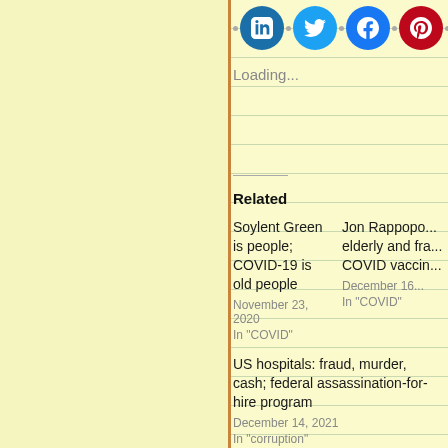[Figure (screenshot): Social share buttons row: LinkedIn (blue), Twitter (cyan), Facebook (blue), Pinterest (red), and a More button with share icon]
Loading...
Related
Soylent Green is people; COVID-19 is old people
November 23, 2020
In "COVID"
Jon Rappopo... elderly and fra... COVID vaccin...
December 16...
In "COVID"
US hospitals: fraud, murder, cash; federal assassination-for-hire program
December 14, 2021
In "corruption"